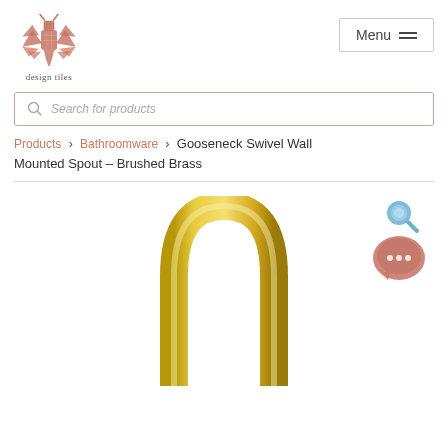[Figure (logo): Design Tiles logo — stylized creature/moth shape in pinkish-terracotta mosaic tile pattern, with text 'design tiles' below]
Menu
Search for products
Products > Bathroomware > Gooseneck Swivel Wall Mounted Spout – Brushed Brass
[Figure (photo): Product photo of a gooseneck swivel wall mounted spout in brushed brass finish — a curved brass arch/loop shape, viewed from front, gold/brass colour, partially cropped at bottom of page. Magnifier icon and chat bubble icon overlaid in top right area.]